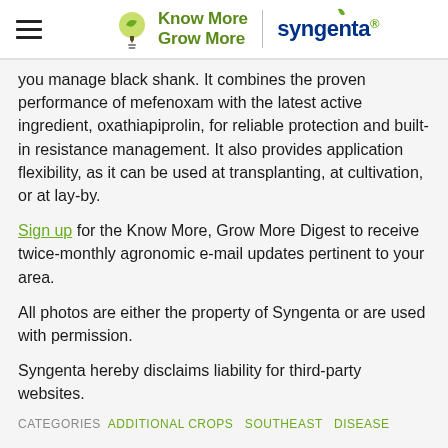Know More Grow More | syngenta.
you manage black shank. It combines the proven performance of mefenoxam with the latest active ingredient, oxathiapiprolin, for reliable protection and built-in resistance management. It also provides application flexibility, as it can be used at transplanting, at cultivation, or at lay-by.
Sign up for the Know More, Grow More Digest to receive twice-monthly agronomic e-mail updates pertinent to your area.
All photos are either the property of Syngenta or are used with permission.
Syngenta hereby disclaims liability for third-party websites.
CATEGORIES  ADDITIONAL CROPS  SOUTHEAST  DISEASE